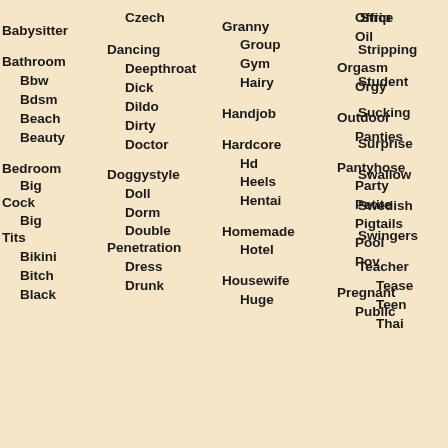Babysitter
Bathroom
Bbw
Bdsm
Beach
Beauty
Bedroom
Big Cock
Big Tits
Bikini
Bitch
Black
Czech
Dancing
Deepthroat
Dick
Dildo
Dirty
Doctor
Doggystyle
Doll
Dorm
Double Penetration
Dress
Drunk
Granny
Group
Gym
Hairy
Handjob
Hardcore
Hd
Heels
Hentai
Homemade
Hotel
Housewife
Huge
Office
Oil
Orgasm
Orgy
Outdoor
Panties
Pantyhose
Party
Petite
Pigtails
Pool
Pov
Pregnant
Public
Strip
Stripping
Student
Sucking
Surprise
Swallow
Swedish
Swingers
Teacher
Tease
Teen
Thai